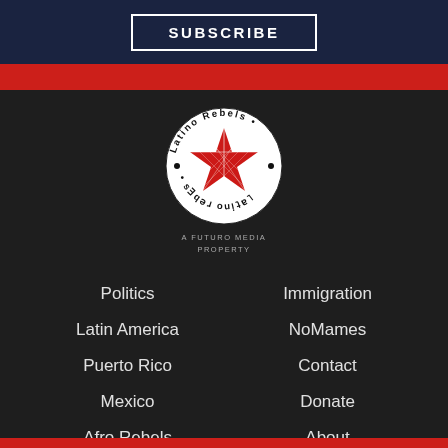SUBSCRIBE
[Figure (logo): Latino Rebels circular logo with a red star in the center, text 'Latino Rebels' around the top and upside-down 'Latino Rebels' around the bottom. A FUTURO MEDIA PROPERTY text below.]
A FUTURO MEDIA PROPERTY
Politics
Latin America
Puerto Rico
Mexico
Afro Rebels
Immigration
NoMames
Contact
Donate
About